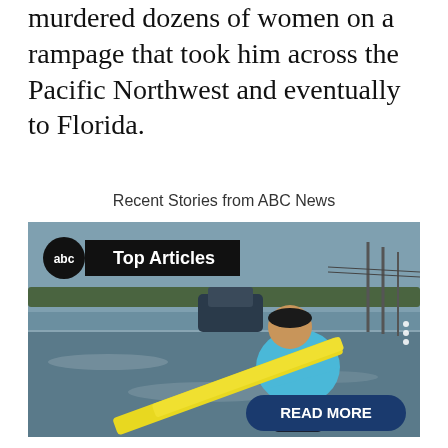murdered dozens of women on a rampage that took him across the Pacific Northwest and eventually to Florida.
Recent Stories from ABC News
[Figure (photo): A man in a blue shirt wading through floodwater holding a yellow tape/strap, with a flooded street and cars visible in the background. ABC News 'Top Articles' badge overlaid in top-left. 'READ MORE' button overlaid in bottom-right.]